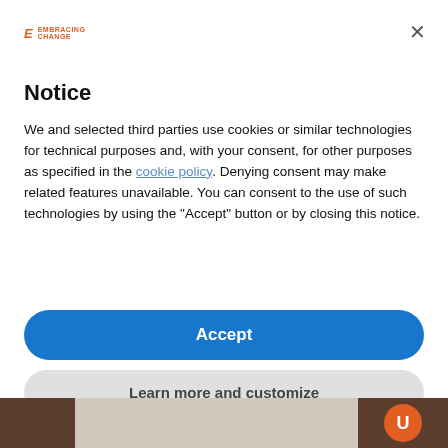[Figure (logo): Embracing Change logo with orange E letter and text]
Notice
We and selected third parties use cookies or similar technologies for technical purposes and, with your consent, for other purposes as specified in the cookie policy. Denying consent may make related features unavailable. You can consent to the use of such technologies by using the "Accept" button or by closing this notice.
Accept
Learn more and customize
[Figure (photo): Partial background image of soil/earth with orange circle logo element visible at bottom of page]